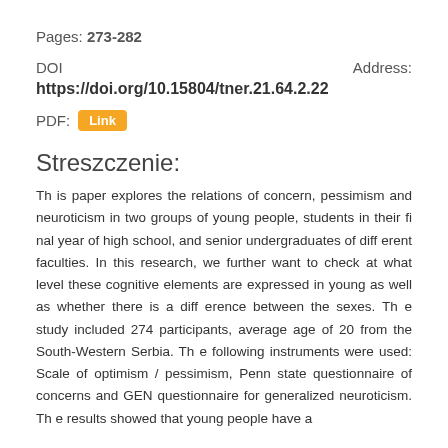Pages: 273-282
DOI    Address:
https://doi.org/10.15804/tner.21.64.2.22
PDF: Link
Streszczenie:
Th is paper explores the relations of concern, pessimism and neuroticism in two groups of young people, students in their fi nal year of high school, and senior undergraduates of diff erent faculties. In this research, we further want to check at what level these cognitive elements are expressed in young as well as whether there is a diff erence between the sexes. Th e study included 274 participants, average age of 20 from the South-Western Serbia. Th e following instruments were used: Scale of optimism / pessimism, Penn state questionnaire of concerns and GEN questionnaire for generalized neuroticism. Th e results showed that young people have a